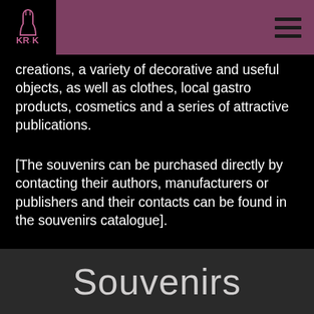KR·K [logo] [hamburger menu]
creations, a variety of decorative and useful objects, as well as clothes, local gastro products, cosmetics and a series of attractive publications.
[The souvenirs can be purchased directly by contacting their authors, manufacturers or publishers and their contacts can be found in the souvenirs catalogue].
Souvenirs